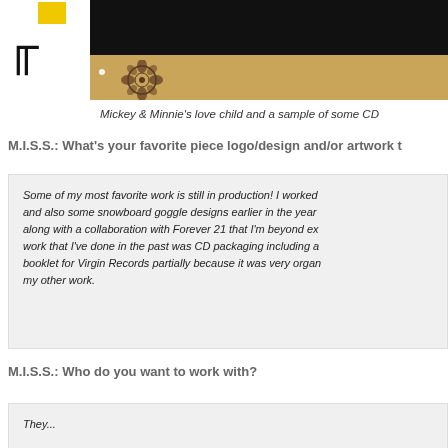[Figure (photo): Website header with black bar, white logo area with bold R and yellow box, and tan/golden ornamental banner area below]
Mickey & Minnie's love child and a sample of some CD
M.I.S.S.: What's your favorite piece logo/design and/or artwork t
Some of my most favorite work is still in production! I worked and also some snowboard goggle designs earlier in the year along with a collaboration with Forever 21 that I'm beyond ex work that I've done in the past was CD packaging including a booklet for Virgin Records partially because it was very organ my other work.
M.I.S.S.: Who do you want to work with?
They...